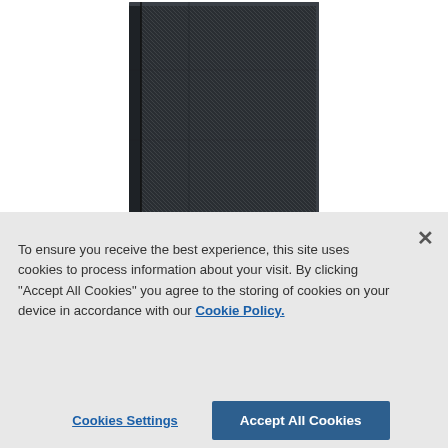[Figure (photo): A black leather-bound book or notebook photographed against a white background, showing the back cover and spine.]
To ensure you receive the best experience, this site uses cookies to process information about your visit. By clicking "Accept All Cookies" you agree to the storing of cookies on your device in accordance with our Cookie Policy.
Cookies Settings
Accept All Cookies